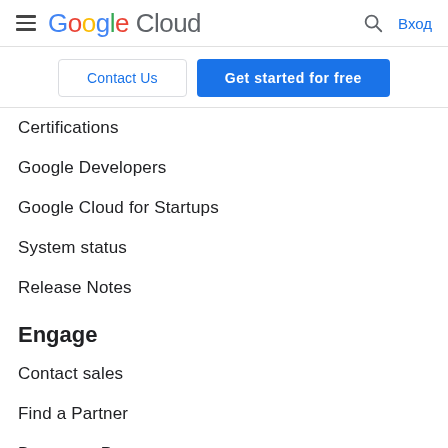Google Cloud — navigation header with hamburger menu, search icon, and Вход login link
Contact Us | Get started for free
Certifications
Google Developers
Google Cloud for Startups
System status
Release Notes
Engage
Contact sales
Find a Partner
Become a Partner
Events